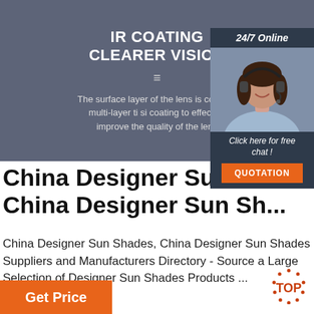[Figure (infographic): Dark bluish-grey banner with bold white text 'IR COATING CLEARER VISION', menu icon, and descriptive text about lens coating]
[Figure (photo): Chat widget showing woman with headset, '24/7 Online' text, 'Click here for free chat!' and orange QUOTATION button]
China Designer Sun Sh... China Designer Sun Sh...
China Designer Sun Shades, China Designer Sun Shades Suppliers and Manufacturers Directory - Source a Large Selection of Designer Sun Shades Products ...
[Figure (logo): Orange TOP badge logo in bottom right]
Get Price